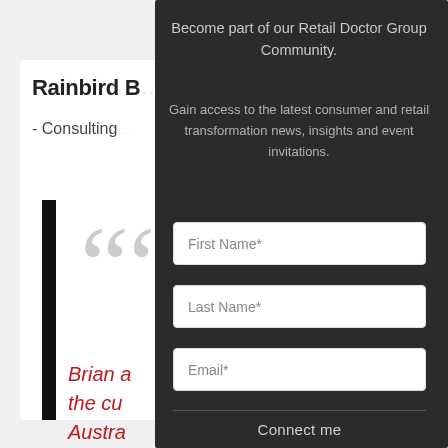[Figure (screenshot): Background of a web page showing partial content: 'Rainbird B...' heading, '- Consulting...' subtitle, a black vertical bar, large quotation mark graphic in light grey, and red italic text beginning with 'Brian a... the cu... Austra... insight... that you would expect from a']
Become part of our Retail Doctor Group Community.
Gain access to the latest consumer and retail transformation news, insights and event invitations.
First Name*
Last Name*
Email*
Connect me